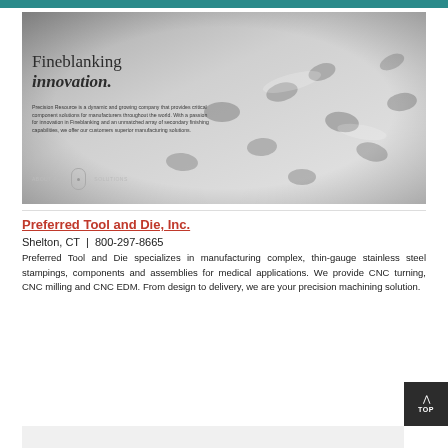[Figure (photo): Hero banner image of fineblanking metal parts (stamped steel pieces with holes) in grayscale, with overlay text: 'Fineblanking innovation.' and a paragraph describing Precision Resource as a dynamic and growing company providing critical component solutions for manufacturers worldwide.]
Preferred Tool and Die, Inc.
Shelton, CT  |  800-297-8665
Preferred Tool and Die specializes in manufacturing complex, thin-gauge stainless steel stampings, components and assemblies for medical applications. We provide CNC turning, CNC milling and CNC EDM. From design to delivery, we are your precision machining solution.